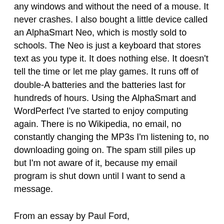any windows and without the need of a mouse. It never crashes. I also bought a little device called an AlphaSmart Neo, which is mostly sold to schools. The Neo is just a keyboard that stores text as you type it. It does nothing else. It doesn't tell the time or let me play games. It runs off of double-A batteries and the batteries last for hundreds of hours. Using the AlphaSmart and WordPerfect I've started to enjoy computing again. There is no Wikipedia, no email, no constantly changing the MP3s I'm listening to, no downloading going on. The spam still piles up but I'm not aware of it, because my email program is shut down until I want to send a message.
From an essay by Paul Ford, "Followup/Distraction." Having switched from Microsoft Word to Notepad2 for writing on the computer (as opposed to "wordprocessing"), I'm in strong sympathy with the idea of "Amish computing," as Ford calls it.
LINK: "My version of Amish computing" A related blog post